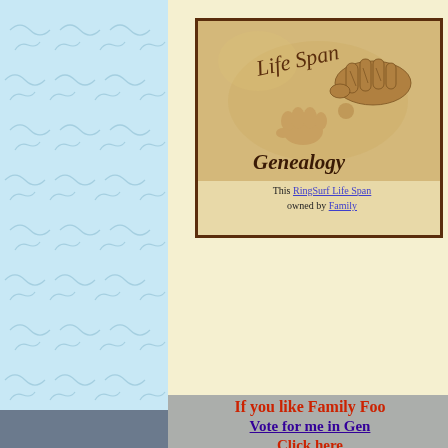[Figure (illustration): Left panel with light blue background featuring a repeating diagonal wave/curl pattern throughout]
[Figure (illustration): LifeSpan Genealogy RingSurf badge showing an elderly hand holding a baby's hand, with calligraphic text 'Life Span' and 'Genealogy', bordered in dark brown]
This RingSurf Life Span owned by Family
If you like Family Foo Vote for me in Gen Click here